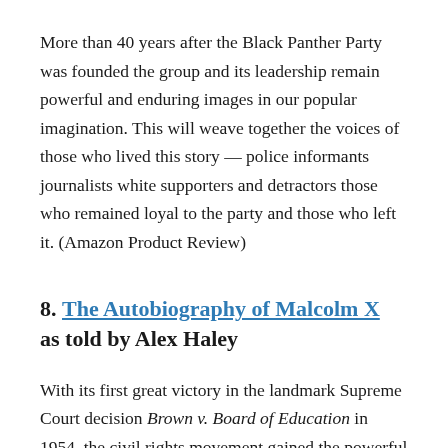More than 40 years after the Black Panther Party was founded the group and its leadership remain powerful and enduring images in our popular imagination. This will weave together the voices of those who lived this story — police informants journalists white supporters and detractors those who remained loyal to the party and those who left it. (Amazon Product Review)
8. The Autobiography of Malcolm X as told by Alex Haley
With its first great victory in the landmark Supreme Court decision Brown v. Board of Education in 1954, the civil rights movement gained the powerful momentum